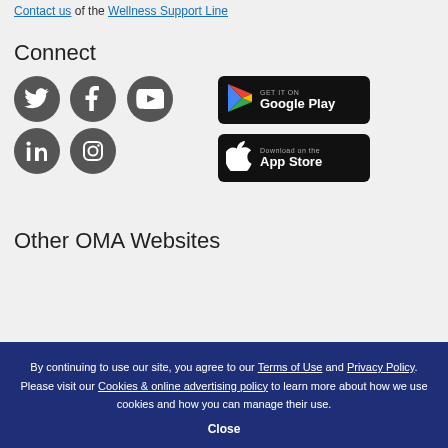Contact us or the Wellness Support Line
Connect
[Figure (other): Social media icons: Twitter, Facebook, YouTube, LinkedIn, Instagram (dark grey circles)]
[Figure (other): Google Play store badge (black rounded rectangle) and Apple App Store badge (black rounded rectangle)]
Other OMA Websites
By continuing to use our site, you agree to our Terms of Use and Privacy Policy. Please visit our Cookies & online advertising policy to learn more about how we use cookies and how you can manage their use.
Close